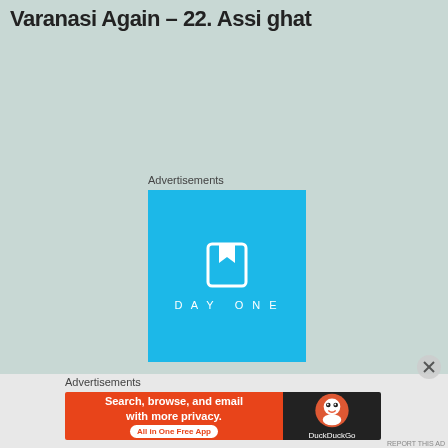Varanasi Again – 22. Assi ghat
Advertisements
[Figure (logo): DayOne app advertisement with blue background, white bookmark icon, and DAYONE text in white]
Advertisements
[Figure (infographic): DuckDuckGo advertisement: orange-red background with text 'Search, browse, and email with more privacy. All in One Free App' and DuckDuckGo logo on dark background]